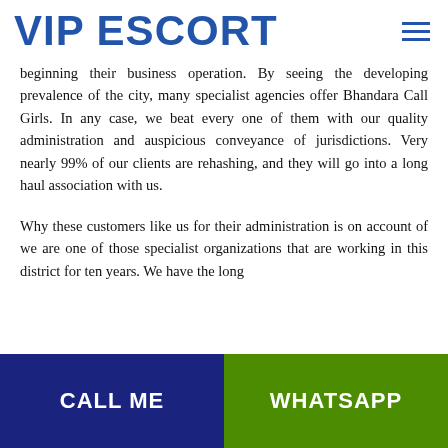VIP ESCORT
beginning their business operation. By seeing the developing prevalence of the city, many specialist agencies offer Bhandara Call Girls. In any case, we beat every one of them with our quality administration and auspicious conveyance of jurisdictions. Very nearly 99% of our clients are rehashing, and they will go into a long haul association with us.
Why these customers like us for their administration is on account of we are one of those specialist organizations that are working in this district for ten years. We have the long
CALL ME | WHATSAPP